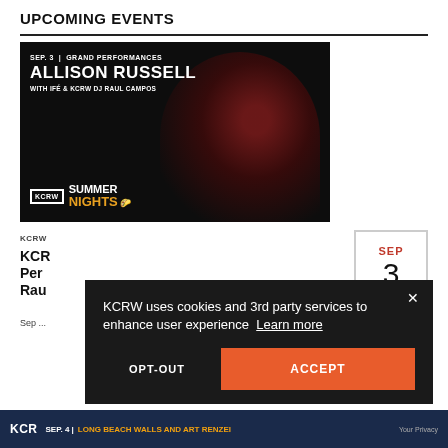UPCOMING EVENTS
[Figure (photo): Promotional image for KCRW Summer Nights event featuring Allison Russell. Dark background with a red-tinted face silhouette. Text reads: SEP. 3 | GRAND PERFORMANCES, ALLISON RUSSELL, WITH IFÉ & KCRW DJ RAUL CAMPOS. KCRW Summer Nights logo at bottom left.]
KCRW
KCRW Summer Nights: Allison Russell with Ifé & KCRW DJ Raul Campos
Sep 3
[Figure (other): Cookie consent popup overlay on dark background. Text: KCRW uses cookies and 3rd party services to enhance user experience Learn more. Buttons: OPT-OUT and ACCEPT (orange). Close X button top right.]
[Figure (photo): Bottom strip showing another event: KCR... SEP. 4 | LONG BEACH WALLS AND ART RENZEI. Dark navy background.]